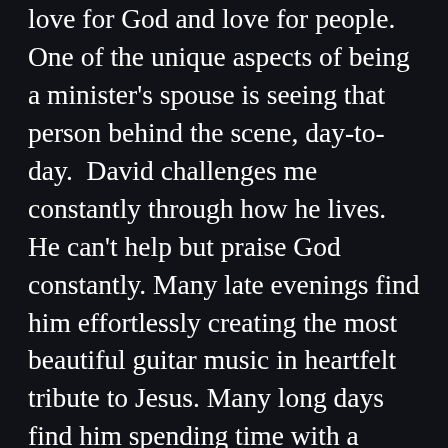love for God and love for people. One of the unique aspects of being a minister's spouse is seeing that person behind the scene, day-to-day.  David challenges me constantly through how he lives. He can't help but praise God constantly. Many late evenings find him effortlessly creating the most beautiful guitar music in heartfelt tribute to Jesus. Many long days find him spending time with a troubled teenager, on a roof somewhere fixing an air conditioner, or offering a caring ear to a grieving person. He's the real deal. Most people have no idea how much he does for others out of his love for God.  He looks more like Jesus